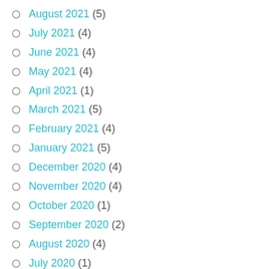August 2021 (5)
July 2021 (4)
June 2021 (4)
May 2021 (4)
April 2021 (1)
March 2021 (5)
February 2021 (4)
January 2021 (5)
December 2020 (4)
November 2020 (4)
October 2020 (1)
September 2020 (2)
August 2020 (4)
July 2020 (1)
June 2020 (3)